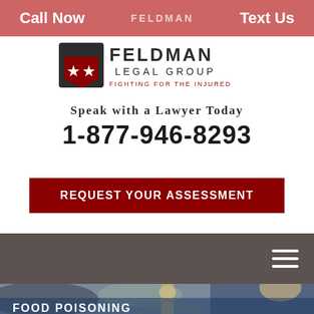Call Now   FELDMAN LEGAL GROUP FIGHTING FOR THE INJURED   Text Us
[Figure (logo): Feldman Legal Group logo: shield with two stars and text 'FELDMAN LEGAL GROUP - FIGHTING FOR THE INJURED']
Speak with a Lawyer Today
1-877-946-8293
REQUEST YOUR ASSESSMENT
[Figure (other): Dark gray navigation bar with hamburger menu icon (three white horizontal lines) on the right side]
[Figure (photo): Background photo of Lady Justice scales statue, blurred bokeh background]
FOOD POISONING